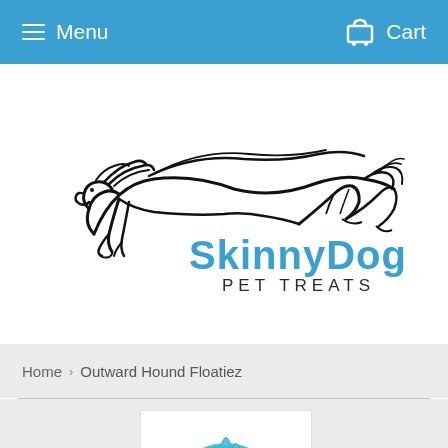Menu  Cart
[Figure (logo): SkinnyDog Pet Treats logo — black outline illustration of a running greyhound dog with text 'SkinnyDog' in blue and 'PET TREATS' in dark gray below]
Home › Outward Hound Floatiez
[Figure (photo): Partial view of a blue textured dog toy (Outward Hound Floatiez) against a white background]